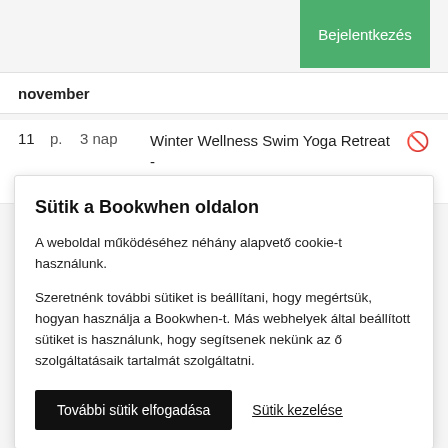Bejelentkezés
november
11  p.  3 nap  Winter Wellness Swim Yoga Retreat - EAGLE LODGE
Sütik a Bookwhen oldalon
A weboldal működéséhez néhány alapvető cookie-t használunk.
Szeretnénk további sütiket is beállítani, hogy megértsük, hogyan használja a Bookwhen-t. Más webhelyek által beállított sütiket is használunk, hogy segítsenek nekünk az ő szolgáltatásaik tartalmát szolgáltatni.
További sütik elfogadása
Sütik kezelése